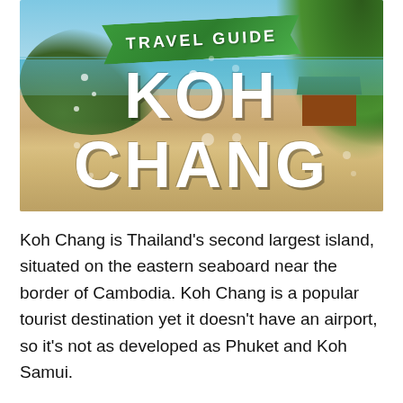[Figure (photo): Travel guide cover image for Koh Chang showing a tropical beach scene with turquoise water, white sand, palm trees and bungalows on the right, green hills on the left, with a green banner reading TRAVEL GUIDE and large white text KOH CHANG overlaid on the image.]
Koh Chang is Thailand's second largest island, situated on the eastern seaboard near the border of Cambodia. Koh Chang is a popular tourist destination yet it doesn't have an airport, so it's not as developed as Phuket and Koh Samui.